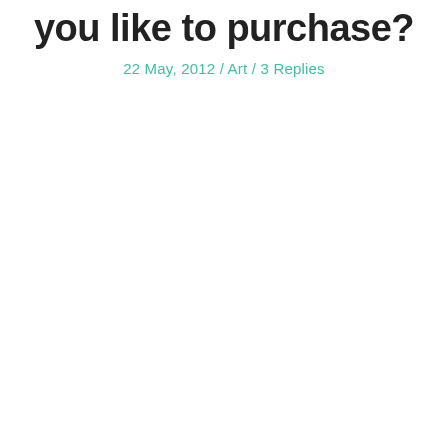you like to purchase?
22 May, 2012 / Art / 3 Replies